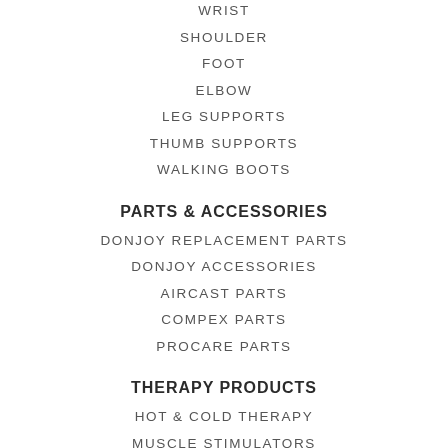WRIST
SHOULDER
FOOT
ELBOW
LEG SUPPORTS
THUMB SUPPORTS
WALKING BOOTS
PARTS & ACCESSORIES
DONJOY REPLACEMENT PARTS
DONJOY ACCESSORIES
AIRCAST PARTS
COMPEX PARTS
PROCARE PARTS
THERAPY PRODUCTS
HOT & COLD THERAPY
MUSCLE STIMULATORS